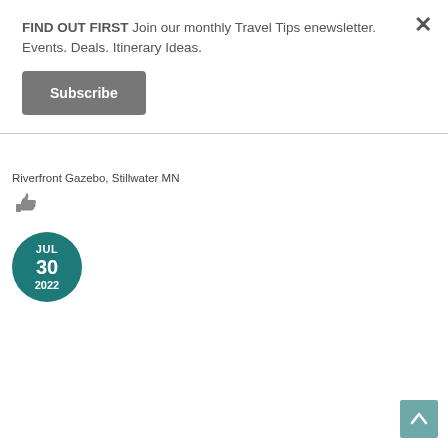FIND OUT FIRST Join our monthly Travel Tips enewsletter. Events. Deals. Itinerary Ideas.
Subscribe
Riverfront Gazebo, Stillwater MN
[Figure (infographic): Thumbs up / like icon in gray]
[Figure (infographic): Date badge circle in teal color showing JUL 30 2022]
[Figure (infographic): Back to top arrow button in teal/gray color at bottom right]